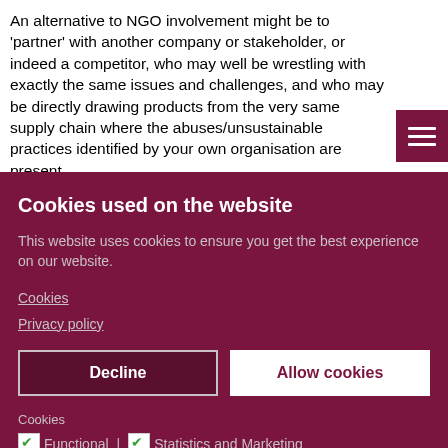An alternative to NGO involvement might be to 'partner' with another company or stakeholder, or indeed a competitor, who may well be wrestling with exactly the same issues and challenges, and who may be directly drawing products from the very same supply chain where the abuses/unsustainable practices identified by your own organisation are present.
And above all, working with an organisation's suppliers proactively can be particularly beneficial so that everyone...
Cookies used on the website
This website uses cookies to ensure you get the best experience on our website.
Cookies
Privacy policy
Decline
Allow cookies
Cookies
✔ Functional | ✔ Statistics and Marketing